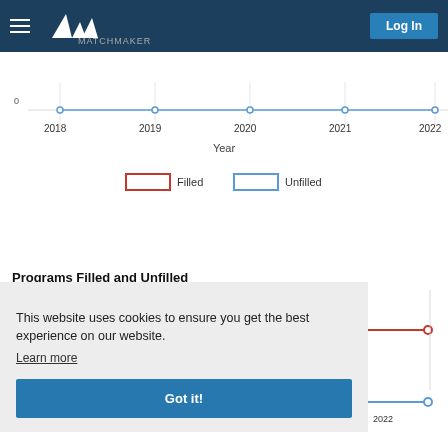Log In
[Figure (line-chart): Line chart showing Programs Filled and Unfilled from 2018 to 2022. Top portion shows an axis near 0 with data points at each year. Legend shows Filled (red outline) and Unfilled (blue outline).]
Programs Filled and Unfilled
This website uses cookies to ensure you get the best experience on our website.
Learn more
Got it!